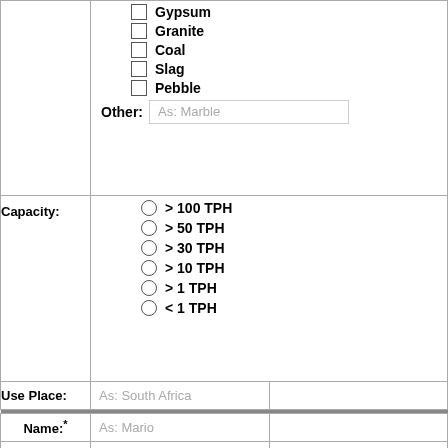Gypsum
Granite
Coal
Slag
Pebble
Other: As: Marble
| Capacity: | Options |
| --- | --- |
| > 100 TPH |
| > 50 TPH |
| > 30 TPH |
| > 10 TPH |
| > 1 TPH |
| < 1 TPH |
| Use Place: | As: South Africa |
| --- | --- |
| Name:* | As: Mario |
| --- | --- |
| Email:* | As: sample@isp.com |
| --- | --- |
| Phone: | As: 0086-21-51860251 |
| --- | --- |
| Message:* | As: output size like 0-10,10-15, 15-20 mm for crushi... |
| --- | --- |